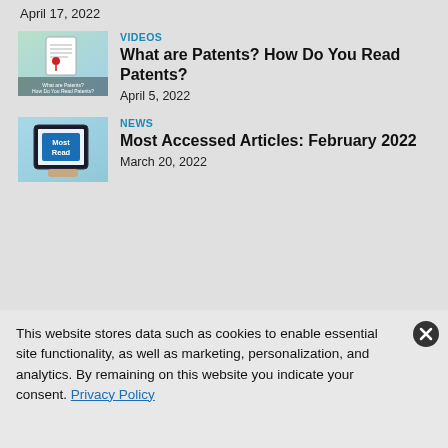April 17, 2022
[Figure (screenshot): Thumbnail image for 'What are Patents? How Do You Read Patents?' video]
VIDEOS
What are Patents? How Do You Read Patents?
April 5, 2022
[Figure (screenshot): Thumbnail image showing tablet with 'Most Read' text for Most Accessed Articles news item]
NEWS
Most Accessed Articles: February 2022
March 20, 2022
This website stores data such as cookies to enable essential site functionality, as well as marketing, personalization, and analytics. By remaining on this website you indicate your consent. Privacy Policy